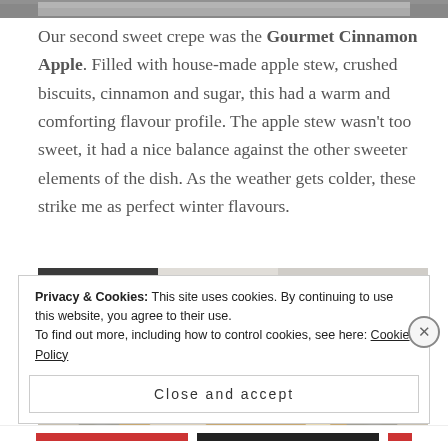[Figure (photo): Partial top strip of a food photo, cropped at top of page]
Our second sweet crepe was the Gourmet Cinnamon Apple. Filled with house-made apple stew, crushed biscuits, cinnamon and sugar, this had a warm and comforting flavour profile. The apple stew wasn't too sweet, it had a nice balance against the other sweeter elements of the dish. As the weather gets colder, these strike me as perfect winter flavours.
[Figure (photo): A bowl of food (crepe/dessert) with what appears to be marshmallows, ice cream, and other toppings, placed on a black and white tiled surface]
Privacy & Cookies: This site uses cookies. By continuing to use this website, you agree to their use.
To find out more, including how to control cookies, see here: Cookie Policy
Close and accept